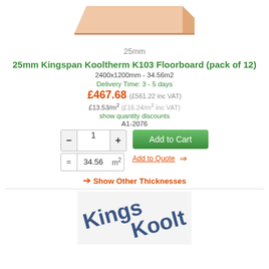[Figure (photo): Partial view of a pink/peach insulation floorboard panel shown at an angle from the top]
25mm
25mm Kingspan Kooltherm K103 Floorboard (pack of 12)
2400x1200mm - 34.56m2
Delivery Time: 3 - 5 days
£467.68 (£561.22 inc VAT)
£13.53/m2 (£16.24/m2 inc VAT)
show quantity discounts
A1-2076
1 | 34.56 m2 | Add to Cart | Add to Quote
→ Show Other Thicknesses
[Figure (photo): Close-up photo of Kingspan Kooltherm product label/surface showing blue text on white/silver foil facing]